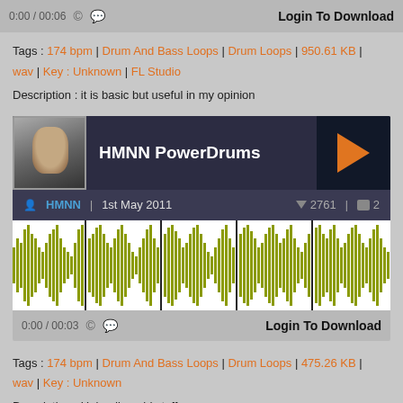0:00 / 00:06  Login To Download
Tags : 174 bpm | Drum And Bass Loops | Drum Loops | 950.61 KB | wav | Key : Unknown | FL Studio
Description : it is basic but useful in my opinion
[Figure (screenshot): Music player card for HMNN PowerDrums by HMNN, 1st May 2011, 2761 votes, 2 comments, with olive green waveform visualization]
0:00 / 00:03  Login To Download
Tags : 174 bpm | Drum And Bass Loops | Drum Loops | 475.26 KB | wav | Key : Unknown
Description : Uploading old stuff....